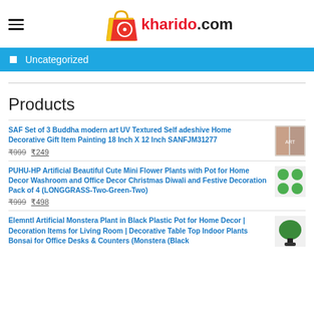kharido.com
Uncategorized
Products
SAF Set of 3 Buddha modern art UV Textured Self adeshive Home Decorative Gift Item Painting 18 Inch X 12 Inch SANFJM31277 ₹999 ₹249
PUHU-HP Artificial Beautiful Cute Mini Flower Plants with Pot for Home Decor Washroom and Office Decor Christmas Diwali and Festive Decoration Pack of 4 (LONGGRASS-Two-Green-Two) ₹999 ₹498
Elemntl Artificial Monstera Plant in Black Plastic Pot for Home Decor | Decoration Items for Living Room | Decorative Table Top Indoor Plants Bonsai for Office Desks & Counters (Monstera (Black